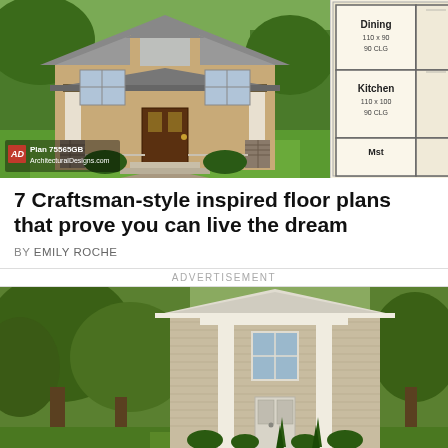[Figure (photo): Craftsman-style house exterior rendering with covered porch, stone pillars, and green lawn. Logo overlay reads 'AD Plan 75565GB ArchitecturalDesigns.com']
[Figure (engineering-diagram): Partial floor plan showing Dining room (110x90, 90 CLG), Kitchen (110x100, 90 CLG), and partial view of another room labeled 'Mst']
7 Craftsman-style inspired floor plans that prove you can live the dream
BY EMILY ROCHE
ADVERTISEMENT
[Figure (photo): Exterior photo of a two-story beige/tan house with white trim and columns, surrounded by trees]
© Tiny Home Tour   About Ads   Terms   Privacy   Do Not Sell My Info